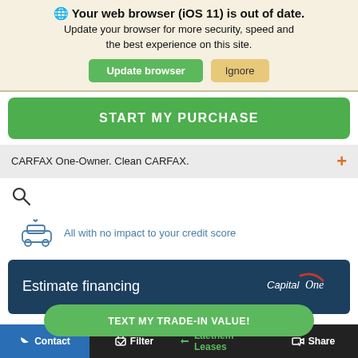🌐 Your web browser (iOS 11) is out of date. Update your browser for more security, speed and the best experience on this site.
Update browser
Ignore
START MY PURCHASE
CARFAX One-Owner. Clean CARFAX.
[Figure (other): Search magnifying glass icon]
[Figure (other): Car with heart icon and text: All with no impact to your credit score]
Estimate financing
[Figure (logo): Capital One logo]
TEXT MY TRADE-IN VALUE!
Contact  Filter  Laethem Leases  Share